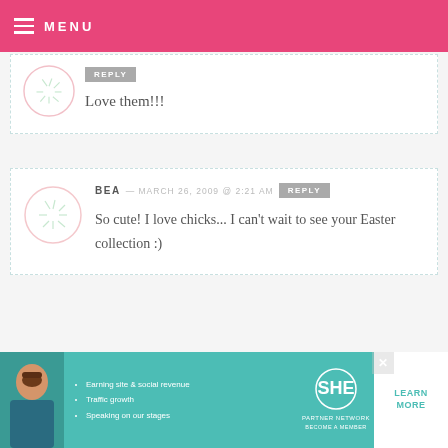MENU
Love them!!!
BEA — MARCH 26, 2009 @ 2:21 AM  REPLY
So cute! I love chicks... I can't wait to see your Easter collection :)
TOTE, DEBBY, SAMMY AND CALEB JIMENEZ — MARCH 26, 2009 @ 2:21 AM  REPLY
[Figure (infographic): SHE Partner Network advertisement banner with photo of woman, bullet points about earning site & social revenue, traffic growth, speaking on stages, SHE logo, and LEARN MORE button]